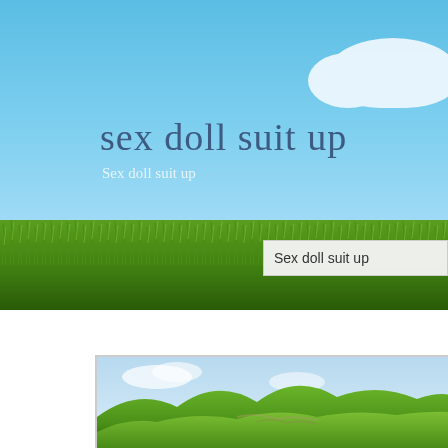[Figure (illustration): Top banner image: blue sky background with a white cloud in upper right, green grass strip at bottom, with overlaid text titles. Below is a white gap, then a bottom framed image showing green rolling hills under a light blue sky.]
sex doll suit up
Sex doll suit up
Sex doll suit up